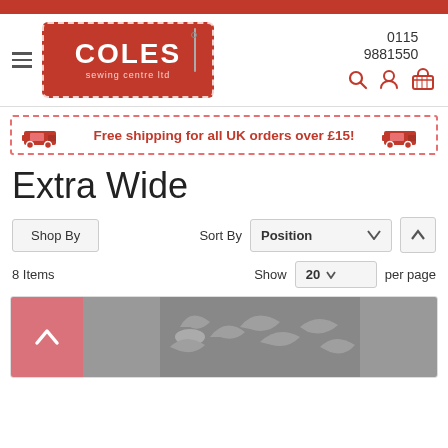[Figure (logo): Coles Sewing Centre Ltd logo - red background with white text]
0115
9881550
[Figure (infographic): Free shipping banner: Free shipping for all UK orders over £15! with red van icons]
Extra Wide
Shop By
Sort By  Position
8 Items   Show  20  per page